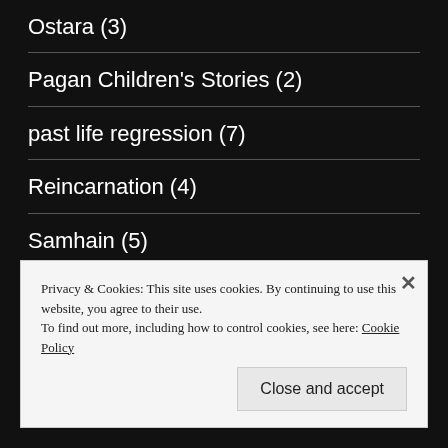Ostara (3)
Pagan Children's Stories (2)
past life regression (7)
Reincarnation (4)
Samhain (5)
Spell Casting (1)
Privacy & Cookies: This site uses cookies. By continuing to use this website, you agree to their use.
To find out more, including how to control cookies, see here: Cookie Policy
Close and accept